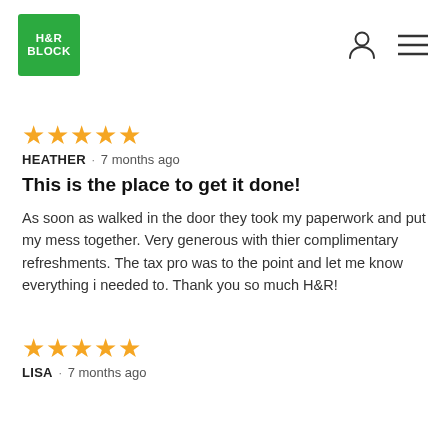H&R Block logo with navigation icons
★★★★★ HEATHER · 7 months ago
This is the place to get it done!
As soon as walked in the door they took my paperwork and put my mess together. Very generous with thier complimentary refreshments. The tax pro was to the point and let me know everything i needed to. Thank you so much H&R!
★★★★★ LISA · 7 months ago